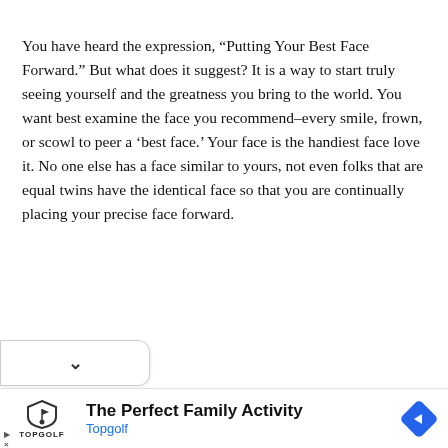You have heard the expression, “Putting Your Best Face Forward.” But what does it suggest? It is a way to start truly seeing yourself and the greatness you bring to the world. You want best examine the face you recommend–every smile, frown, or scowl to peer a ‘best face.’ Your face is the handiest face love it. No one else has a face similar to yours, not even folks that are equal twins have the identical face so that you are continually placing your precise face forward.
[Figure (other): A collapsed section UI element with a downward chevron arrow indicating expandable content]
[Figure (other): Advertisement banner for Topgolf featuring logo, text 'The Perfect Family Activity', 'Topgolf' subtitle in blue, and a blue navigation arrow icon]